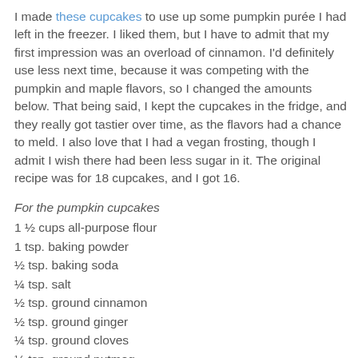I made these cupcakes to use up some pumpkin purée I had left in the freezer. I liked them, but I have to admit that my first impression was an overload of cinnamon. I'd definitely use less next time, because it was competing with the pumpkin and maple flavors, so I changed the amounts below. That being said, I kept the cupcakes in the fridge, and they really got tastier over time, as the flavors had a chance to meld. I also love that I had a vegan frosting, though I admit I wish there had been less sugar in it. The original recipe was for 18 cupcakes, and I got 16.
For the pumpkin cupcakes
1 ½ cups all-purpose flour
1 tsp. baking powder
½ tsp. baking soda
¼ tsp. salt
½ tsp. ground cinnamon
½ tsp. ground ginger
¼ tsp. ground cloves
¼ tsp. ground nutmeg
½ cup butter, at room temperature (I used cold margarine)